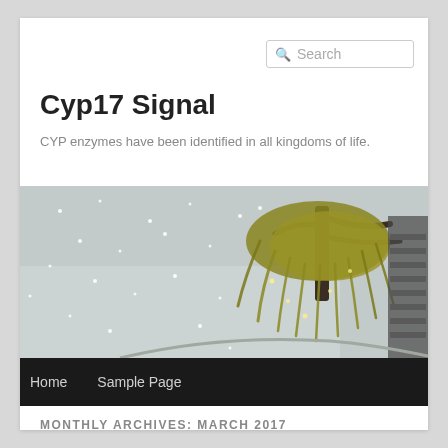Search
Cyp17 Signal
CYP enzymes have been identified in all kingdoms of life.
[Figure (photo): A weeping willow tree in a snowy winter scene with falling snow, near a body of water and stairs in the background.]
Home    Sample Page
MONTHLY ARCHIVES: MARCH 2017